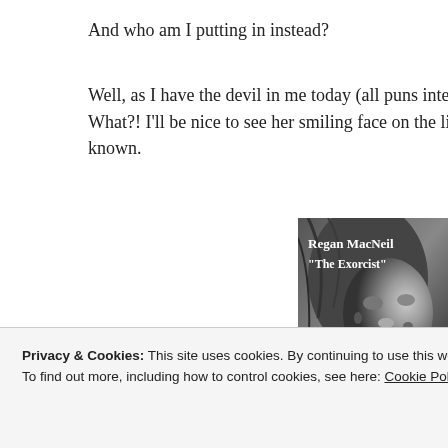And who am I putting in instead?
Well, as I have the devil in me today (all puns intended) I am go... What?! I'll be nice to see her smiling face on the list won't it? A... known.
[Figure (photo): Black and white photo of Regan MacNeil from The Exorcist, with text overlay: Regan MacNeil, "The Exorcist"]
Privacy & Cookies: This site uses cookies. By continuing to use this website, you agree to their use.
To find out more, including how to control cookies, see here: Cookie Policy
Close and accept